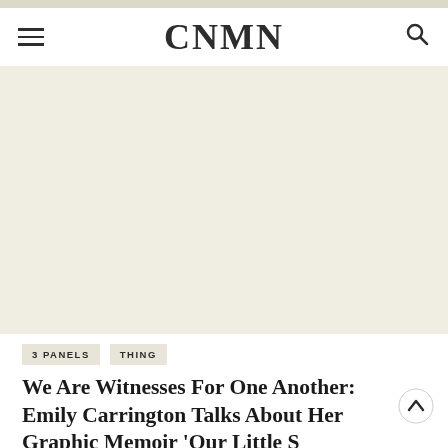CNMN
[Figure (photo): Large image area, light beige/cream background, content not visible]
3 PANELS   THING
We Are Witnesses For One Another: Emily Carrington Talks About Her Graphic Memoir 'Our Little Secrets'